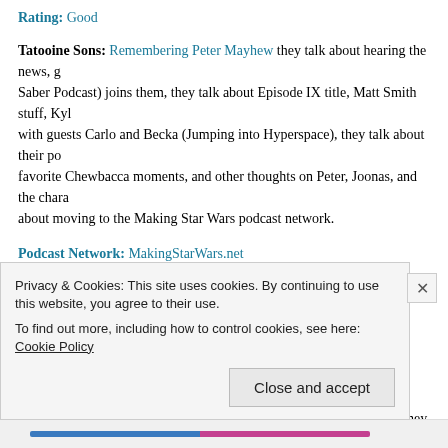Rating: Good
Tatooine Sons: Remembering Peter Mayhew they talk about hearing the news, g... Saber Podcast) joins them, they talk about Episode IX title, Matt Smith stuff, Kyl... with guests Carlo and Becka (Jumping into Hyperspace), they talk about their po... favorite Chewbacca moments, and other thoughts on Peter, Joonas, and the chara... about moving to the Making Star Wars podcast network.
Podcast Network: MakingStarWars.net
Runtime: 1 hour 16 minutes
Audio Quality: Good
Production Quality: Good
Hosts: David, Nate, and Samuel
Rating: Good
TechnoRetro Dads: What a Wookiee! Peter Mayhew is Chewbacca they talk abo...
Privacy & Cookies: This site uses cookies. By continuing to use this website, you agree to their use. To find out more, including how to control cookies, see here: Cookie Policy
Close and accept